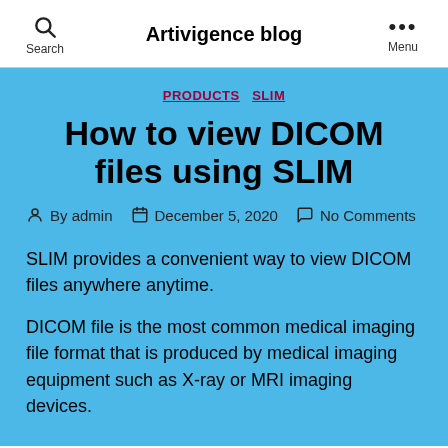Search | Artivigence blog | Menu
PRODUCTS  SLIM
How to view DICOM files using SLIM
By admin  December 5, 2020  No Comments
SLIM provides a convenient way to view DICOM files anywhere anytime.
DICOM file is the most common medical imaging file format that is produced by medical imaging equipment such as X-ray or MRI imaging devices.